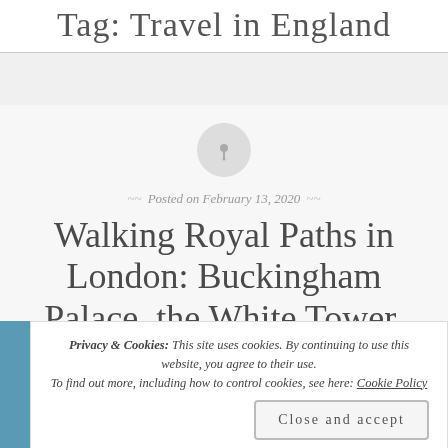Tag: Travel in England
[Figure (illustration): Pin/thumbtack icon inside a light gray circle]
Posted on February 13, 2020
Walking Royal Paths in London: Buckingham Palace, the White Tower, and Shakespeare's Globe
Privacy & Cookies: This site uses cookies. By continuing to use this website, you agree to their use. To find out more, including how to control cookies, see here: Cookie Policy
Close and accept
[Figure (photo): Partial photo of a castle or historic building with trees visible at the bottom of the page]